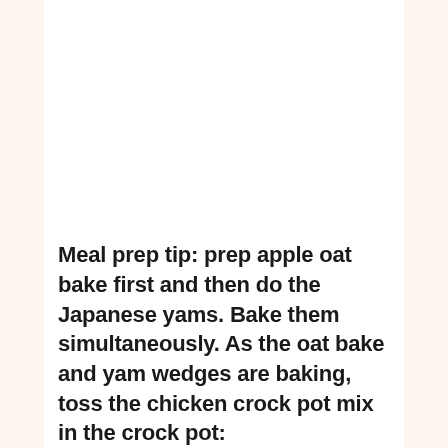Meal prep tip: prep apple oat bake first and then do the Japanese yams. Bake them simultaneously. As the oat bake and yam wedges are baking, toss the chicken crock pot mix in the crock pot: